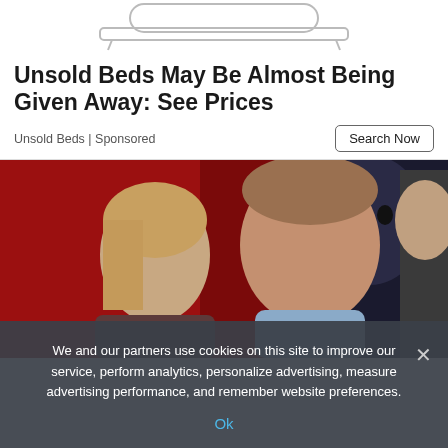[Figure (illustration): Simple line drawing of a bed (headboard, footboard, legs) on white background]
Unsold Beds May Be Almost Being Given Away: See Prices
Unsold Beds | Sponsored
[Figure (photo): Photo of a younger blonde woman and an older man (Harrison Ford) at what appears to be a red carpet event, with a dark figure in the background and a partial third person on the right]
We and our partners use cookies on this site to improve our service, perform analytics, personalize advertising, measure advertising performance, and remember website preferences.
Ok